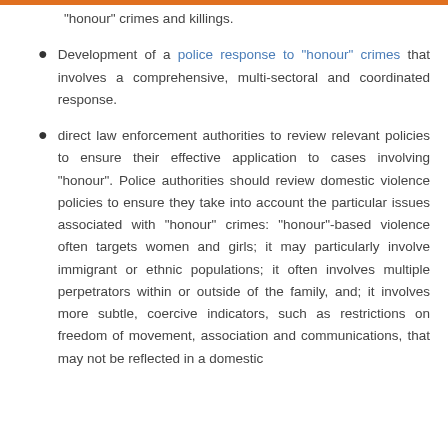“honour” crimes and killings.
Development of a police response to “honour” crimes that involves a comprehensive, multi-sectoral and coordinated response.
direct law enforcement authorities to review relevant policies to ensure their effective application to cases involving “honour”. Police authorities should review domestic violence policies to ensure they take into account the particular issues associated with “honour” crimes: “honour”-based violence often targets women and girls; it may particularly involve immigrant or ethnic populations; it often involves multiple perpetrators within or outside of the family, and; it involves more subtle, coercive indicators, such as restrictions on freedom of movement, association and communications, that may not be reflected in a domestic